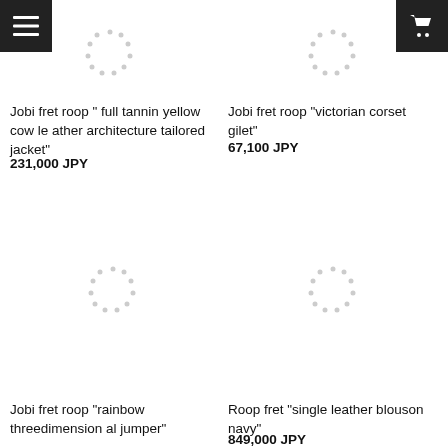[Figure (screenshot): E-commerce product listing page showing 4 products in a 2x2 grid with menu and cart buttons in header]
Jobi fret roop "full tannin yellow cow leather architecture tailored jacket"
231,000 JPY
Jobi fret roop "victorian corset gilet"
67,100 JPY
Jobi fret roop "rainbow threedimensional jumper"
Roop fret "single leather blouson navy"
849,000 JPY